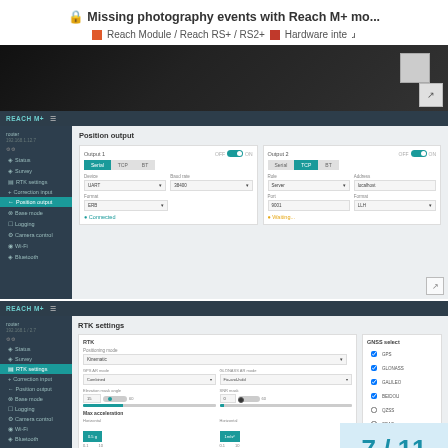Missing photography events with Reach M+ mo...
Reach Module / Reach RS+ / RS2+   Hardware inteʅ
[Figure (screenshot): Dark background hardware photo with expand icon]
[Figure (screenshot): Reach M+ UI screenshot showing Position output settings panel with Output 1 (Serial/TCP/BT tabs, Device: UART, Baud rate: 38400, Format: ERB, Connected status) and Output 2 (Serial/TCP/BT tabs, Role: Server, Address: localhost, Port: 9001, Format: LLH, Waiting status)]
[Figure (screenshot): Reach M+ UI screenshot showing RTK settings panel with Positioning mode: Kinematic, GPS AR mode: Combined, GLONASS AR mode: Fix-and-hold, Elevation mask angle: 15, SNR mask: 0, Max acceleration settings, GNSS select checkboxes (GPS, GLONASS, GALILEO, BEIDOU, QZSS, SBAS), Update rate: 1 Hz]
7 / 11